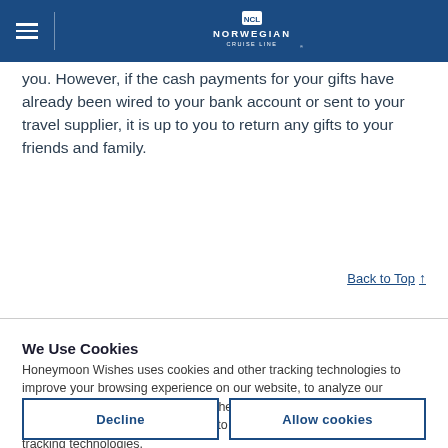Norwegian Cruise Line header with hamburger menu and NCL logo
you. However, if the cash payments for your gifts have already been wired to your bank account or sent to your travel supplier, it is up to you to return any gifts to your friends and family.
Back to Top ↑
We Use Cookies
Honeymoon Wishes uses cookies and other tracking technologies to improve your browsing experience on our website, to analyze our website traffic, and to understand where our visitors are coming from. By browsing our website, you consent to our use of cookies and other tracking technologies. Cookie policy  Privacy policy
Decline
Allow cookies